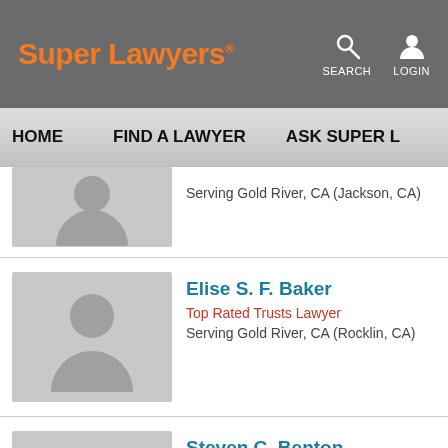Super Lawyers
HOME   FIND A LAWYER   ASK SUPER L
Serving Gold River, CA (Jackson, CA)
Elise S. F. Baker
Top Rated Trusts Lawyer
Serving Gold River, CA (Rocklin, CA)
Steven C. Benton
Top Rated Trusts Lawyer
Serving Gold River, CA (Sacramento, CA)